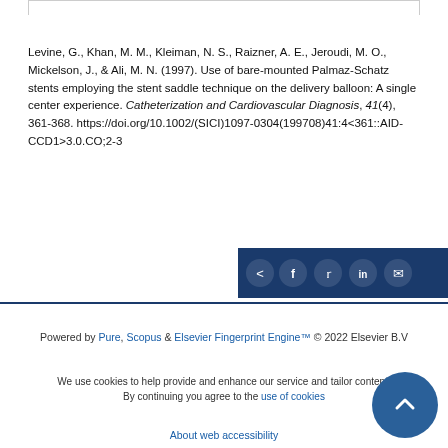Levine, G., Khan, M. M., Kleiman, N. S., Raizner, A. E., Jeroudi, M. O., Mickelson, J., & Ali, M. N. (1997). Use of bare-mounted Palmaz-Schatz stents employing the stent saddle technique on the delivery balloon: A single center experience. Catheterization and Cardiovascular Diagnosis, 41(4), 361-368. https://doi.org/10.1002/(SICI)1097-0304(199708)41:4<361::AID-CCD1>3.0.CO;2-3
[Figure (other): Social share bar with icons for share, Facebook, Twitter, LinkedIn, and email]
Powered by Pure, Scopus & Elsevier Fingerprint Engine™ © 2022 Elsevier B.V
We use cookies to help provide and enhance our service and tailor content. By continuing you agree to the use of cookies
About web accessibility